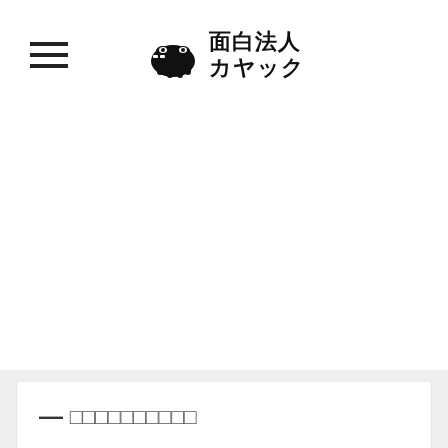面白法人カヤック
[Figure (logo): 面白法人カヤック logo with hippo/animal icon and Japanese text]
[Figure (other): Tweet button with Twitter bird icon]
— □□□□□□□□□□
□□□□□□□□□□□□□□□□□□□□□□□□□□□□□□□□□□□□
— □□□□□□